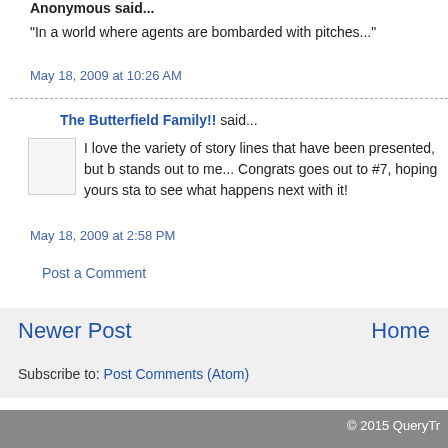Anonymous said...
"In a world where agents are bombarded with pitches..."
May 18, 2009 at 10:26 AM
The Butterfield Family!! said...
I love the variety of story lines that have been presented, but b stands out to me... Congrats goes out to #7, hoping yours sta to see what happens next with it!
May 18, 2009 at 2:58 PM
Post a Comment
Newer Post
Home
Subscribe to: Post Comments (Atom)
© 2015 QueryTr